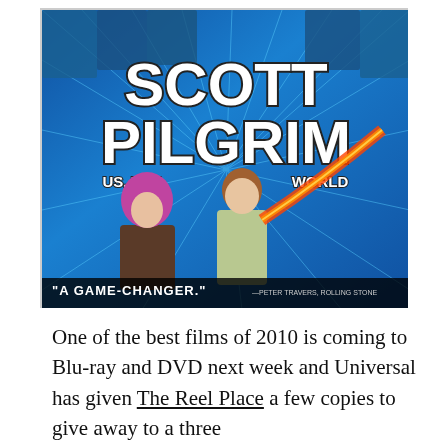[Figure (photo): Movie poster for 'Scott Pilgrim vs. the World' — blue background with speed lines, title text in large bold white letters with dark outline, two main characters in foreground (girl with pink hair, boy with red glowing sword), smaller character portraits across the top, quote bar at bottom reading 'A GAME-CHANGER.' attributed to Peter Travers, Rolling Stone]
One of the best films of 2010 is coming to Blu-ray and DVD next week and Universal has given The Reel Place a few copies to give away to a three